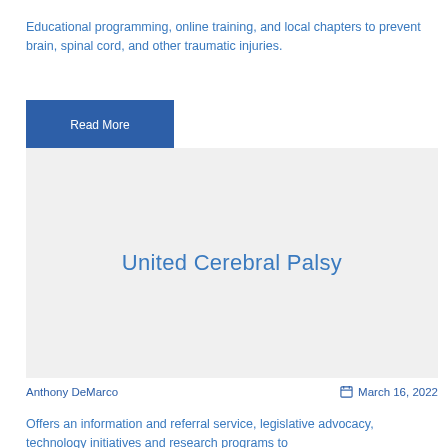Educational programming, online training, and local chapters to prevent brain, spinal cord, and other traumatic injuries.
Read More
[Figure (other): Card with light gray background displaying the text 'United Cerebral Palsy' in blue heading style]
Anthony DeMarco
March 16, 2022
Offers an information and referral service, legislative advocacy, technology initiatives and research programs to